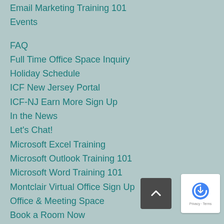Email Marketing Training 101
Events
FAQ
Full Time Office Space Inquiry
Holiday Schedule
ICF New Jersey Portal
ICF-NJ Earn More Sign Up
In the News
Let's Chat!
Microsoft Excel Training
Microsoft Outlook Training 101
Microsoft Word Training 101
Montclair Virtual Office Sign Up
Office & Meeting Space
Book a Room Now
Desk Rental